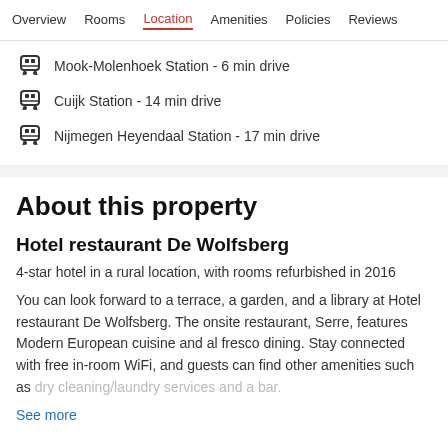Overview   Rooms   Location   Amenities   Policies   Reviews
Mook-Molenhoek Station - 6 min drive
Cuijk Station - 14 min drive
Nijmegen Heyendaal Station - 17 min drive
About this property
Hotel restaurant De Wolfsberg
4-star hotel in a rural location, with rooms refurbished in 2016
You can look forward to a terrace, a garden, and a library at Hotel restaurant De Wolfsberg. The onsite restaurant, Serre, features Modern European cuisine and al fresco dining. Stay connected with free in-room WiFi, and guests can find other amenities such as dry cleaning/laundry services and a bar.
See more